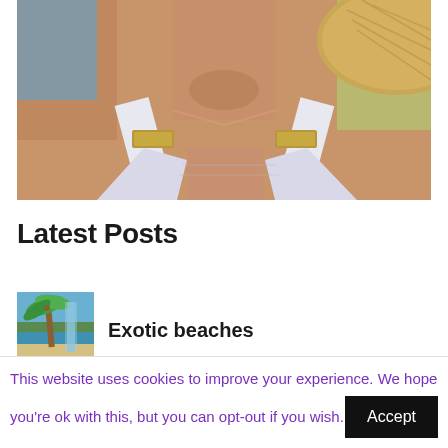[Figure (photo): Close-up photo of a woman in a white bikini top with gold hardware and a straw hat, at a beach. Only the neck/chest/shoulder area and hat are visible.]
Latest Posts
[Figure (photo): Small thumbnail image of a tropical beach scene with palm trees.]
Exotic beaches
This website uses cookies to improve your experience. We hope you're ok with this, but you can opt-out if you wish.